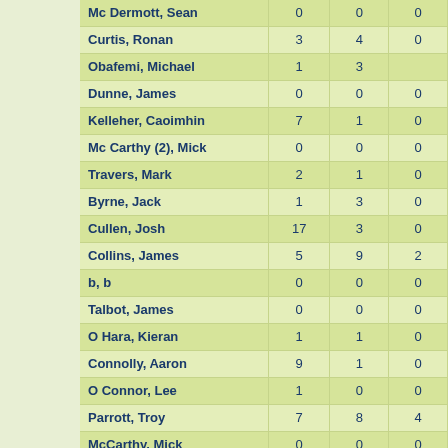| Player | Col1 | Col2 | Col3 |
| --- | --- | --- | --- |
| Mc Dermott, Sean | 0 | 0 | 0 |
| Curtis, Ronan | 3 | 4 | 0 |
| Obafemi, Michael | 1 | 3 |  |
| Dunne, James | 0 | 0 | 0 |
| Kelleher, Caoimhin | 7 | 1 | 0 |
| Mc Carthy (2), Mick | 0 | 0 | 0 |
| Travers, Mark | 2 | 1 | 0 |
| Byrne, Jack | 1 | 3 | 0 |
| Cullen, Josh | 17 | 3 | 0 |
| Collins, James | 5 | 9 | 2 |
| b, b | 0 | 0 | 0 |
| Talbot, James | 0 | 0 | 0 |
| O Hara, Kieran | 1 | 1 | 0 |
| Connolly, Aaron | 9 | 1 | 0 |
| O Connor, Lee | 1 | 0 | 0 |
| Parrott, Troy | 7 | 8 | 4 |
| McCarthy, Mick | 0 | 0 | 0 |
| test, test | 0 | 0 | 0 |
| test, test | 0 | 0 | 0 |
| test2, test2 | 0 | 0 | 0 |
| test, test | 0 | 0 | 0 |
| Owen, owen | 0 | 0 | 0 |
| c, o | 0 | 0 | 0 |
|  | 0 | 0 |  |